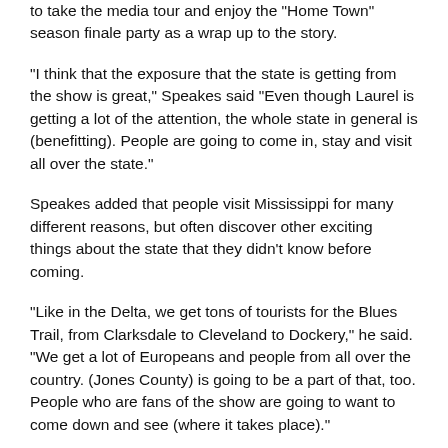to take the media tour and enjoy the 'Home Town' season finale party as a wrap up to the story.
“I think that the exposure that the state is getting from the show is great,” Speakes said “Even though Laurel is getting a lot of the attention, the whole state in general is (benefitting). People are going to come in, stay and visit all over the state.”
Speakes added that people visit Mississippi for many different reasons, but often discover other exciting things about the state that they didn’t know before coming.
“Like in the Delta, we get tons of tourists for the Blues Trail, from Clarksdale to Cleveland to Dockery,” he said. “We get a lot of Europeans and people from all over the country. (Jones County) is going to be a part of that, too. People who are fans of the show are going to want to come down and see (where it takes place).”
During the time between “Home Town” seasons, Chamber officials believe, as Speakes mentioned, that there will be an uptick in visitors coming to Jones County. Although they are looking for a small-town experience, many will be pleased to learn that they can